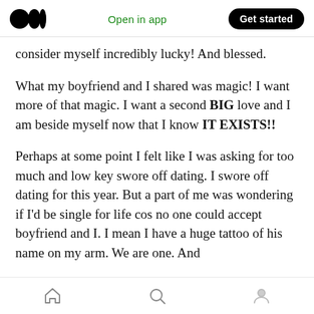Medium logo | Open in app | Get started
consider myself incredibly lucky! And blessed.
What my boyfriend and I shared was magic! I want more of that magic. I want a second BIG love and I am beside myself now that I know IT EXISTS!!
Perhaps at some point I felt like I was asking for too much and low key swore off dating. I swore off dating for this year. But a part of me was wondering if I'd be single for life cos no one could accept boyfriend and I. I mean I have a huge tattoo of his name on my arm. We are one. And
Home | Search | Profile